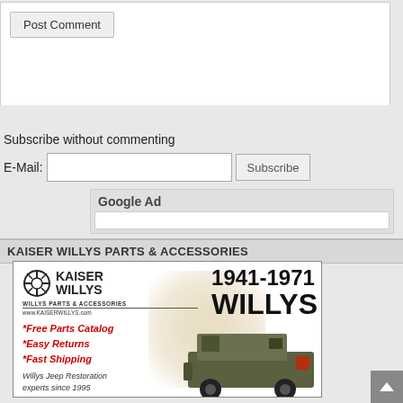[Figure (screenshot): Web form area with Post Comment button and text area]
Subscribe without commenting
E-Mail:
[Figure (screenshot): Google Ad placeholder box]
KAISER WILLYS PARTS & ACCESSORIES
[Figure (other): Kaiser Willys advertisement showing logo, 1941-1971 Willys text, Free Parts Catalog, Easy Returns, Fast Shipping, Willys Jeep Restoration experts since 1995, with jeep image]